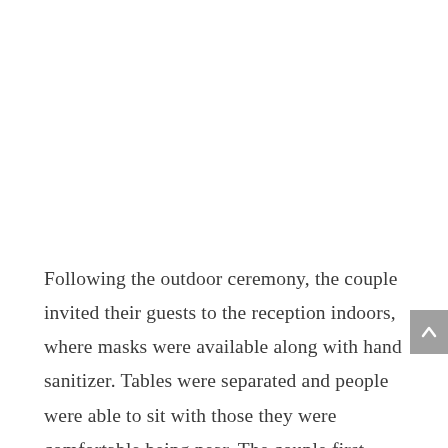Following the outdoor ceremony, the couple invited their guests to the reception indoors, where masks were available along with hand sanitizer. Tables were separated and people were able to sit with those they were comfortable being near. The couple first danced to “Better